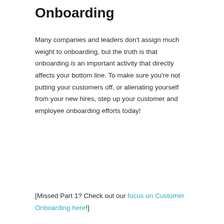Onboarding
Many companies and leaders don’t assign much weight to onboarding, but the truth is that onboarding is an important activity that directly affects your bottom line. To make sure you’re not putting your customers off, or alienating yourself from your new hires, step up your customer and employee onboarding efforts today!
[Missed Part 1? Check out our focus on Customer Onboarding here!]